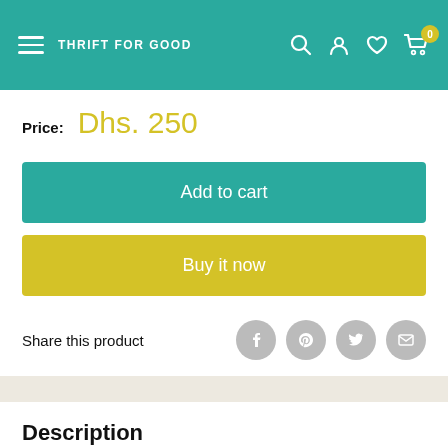THRIFT FOR GOOD
Price: Dhs. 250
Add to cart
Buy it now
Share this product
Description
We love this beautiful bracelet! Elegant, stylish and hopefully